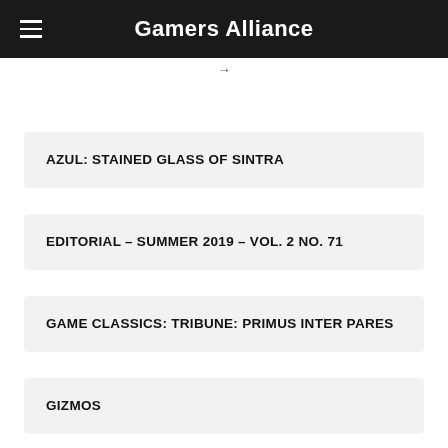Gamers Alliance
AZUL: STAINED GLASS OF SINTRA
EDITORIAL – SUMMER 2019 – VOL. 2 NO. 71
GAME CLASSICS: TRIBUNE: PRIMUS INTER PARES
GIZMOS